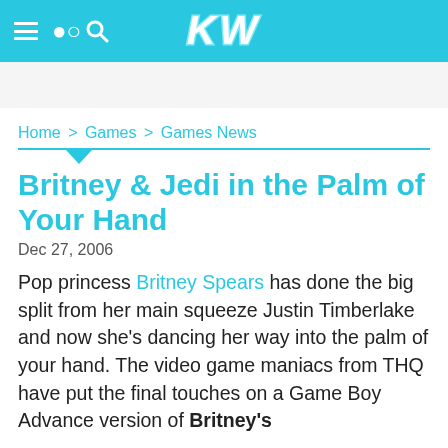KW
Home > Games > Games News
Britney & Jedi in the Palm of Your Hand
Dec 27, 2006
Pop princess Britney Spears has done the big split from her main squeeze Justin Timberlake and now she's dancing her way into the palm of your hand. The video game maniacs from THQ have put the final touches on a Game Boy Advance version of Britney's